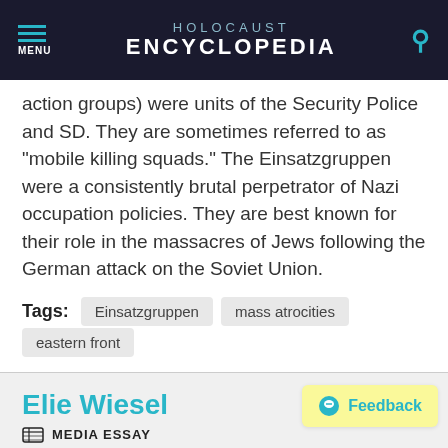HOLOCAUST ENCYCLOPEDIA
action groups) were units of the Security Police and SD. They are sometimes referred to as "mobile killing squads." The Einsatzgruppen were a consistently brutal perpetrator of Nazi occupation policies. They are best known for their role in the massacres of Jews following the German attack on the Soviet Union.
Tags: Einsatzgruppen   mass atrocities   eastern front
Elie Wiesel
MEDIA ESSAY